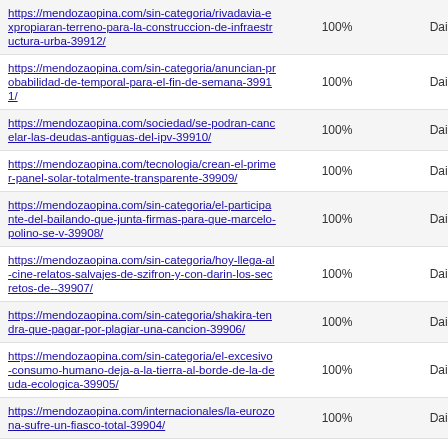| https://mendozaopina.com/sin-categoria/rivadavia-expropiaran-terreno-para-la-construccion-de-infraestructura-urba-39912/ | 100% | Daily |
| https://mendozaopina.com/sin-categoria/anuncian-probabilidad-de-temporal-para-el-fin-de-semana-39911/ | 100% | Daily |
| https://mendozaopina.com/sociedad/se-podran-cancelar-las-deudas-antiguas-del-ipv-39910/ | 100% | Daily |
| https://mendozaopina.com/tecnologia/crean-el-primer-panel-solar-totalmente-transparente-39909/ | 100% | Daily |
| https://mendozaopina.com/sin-categoria/el-participante-del-bailando-que-junta-firmas-para-que-marcelo-polino-se-v-39908/ | 100% | Daily |
| https://mendozaopina.com/sin-categoria/hoy-llega-al-cine-relatos-salvajes-de-szifron-y-con-darin-los-secretos-de--39907/ | 100% | Daily |
| https://mendozaopina.com/sin-categoria/shakira-tendra-que-pagar-por-plagiar-una-cancion-39906/ | 100% | Daily |
| https://mendozaopina.com/sin-categoria/el-excesivo-consumo-humano-deja-a-la-tierra-al-borde-de-la-deuda-ecologica-39905/ | 100% | Daily |
| https://mendozaopina.com/internacionales/la-eurozona-sufre-un-fiasco-total-39904/ | 100% | Daily |
| https://mendozaopina.com/internacionales/el-capital-privado-huye-de-eeuu-39903/ | 100% | Daily |
| https://mendozaopina.com/internacionales/eeuu-intenta-dominar-con-violencia-y-mentiras-39902/ | 100% | Daily |